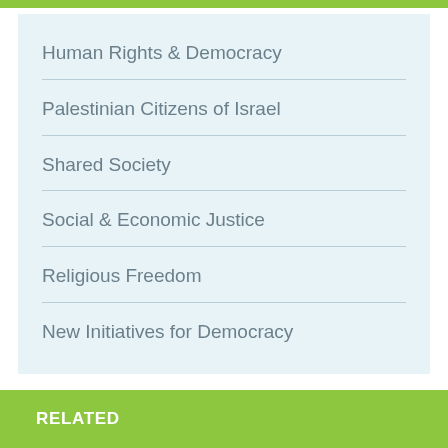Human Rights & Democracy
Palestinian Citizens of Israel
Shared Society
Social & Economic Justice
Religious Freedom
New Initiatives for Democracy
RELATED